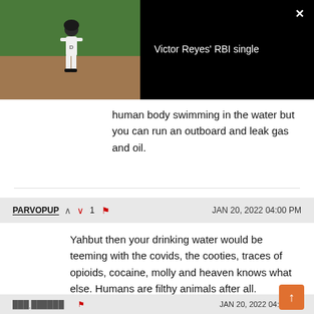[Figure (screenshot): Video thumbnail showing a baseball player on a field with green grass background, overlaid with title 'Victor Reyes' RBI single' on black background with close button]
human body swimming in the water but you can run an outboard and leak gas and oil.
PARVOPUP  ∧  ∨1  🚩  JAN 20, 2022 04:00 PM
Yahbut then your drinking water would be teeming with the covids, the cooties, traces of opioids, cocaine, molly and heaven knows what else. Humans are filthy animals after all.